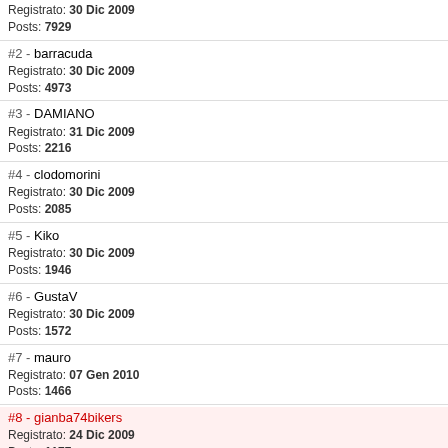Registrato: 30 Dic 2009 Posts: 7929
#2 - barracuda
Registrato: 30 Dic 2009
Posts: 4973
#3 - DAMIANO
Registrato: 31 Dic 2009
Posts: 2216
#4 - clodomorini
Registrato: 30 Dic 2009
Posts: 2085
#5 - Kiko
Registrato: 30 Dic 2009
Posts: 1946
#6 - GustaV
Registrato: 30 Dic 2009
Posts: 1572
#7 - mauro
Registrato: 07 Gen 2010
Posts: 1466
#8 - gianba74bikers
Registrato: 24 Dic 2009
Posts: 1177
#9 - Burbero
Registrato: 01 Gen 2010
Posts: 980
#10 - Triodo
Registrato: 05 Gen 2010
Posts: 820
#11 - santo62
Registrato: 05 Mar 2013
Posts: 621
#12 - trialinbici
Registrato: 08 Feb 2010
Posts: 566
| Day | Count | Note |
| --- | --- | --- |
| 7 | 1 |  |
| 8 | 1 | Honda4F... |
| 9 | 1 |  |
| 10 | 1 |  |
3 Pagine  1  2  3
Utenti totali presenti nella Top Site List: 1 (0 Utenti R...
Gli utenti visibili sono: